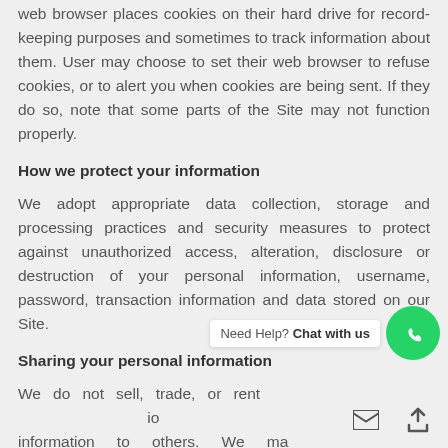web browser places cookies on their hard drive for record-keeping purposes and sometimes to track information about them. User may choose to set their web browser to refuse cookies, or to alert you when cookies are being sent. If they do so, note that some parts of the Site may not function properly.
How we protect your information
We adopt appropriate data collection, storage and processing practices and security measures to protect against unauthorized access, alteration, disclosure or destruction of your personal information, username, password, transaction information and data stored on our Site.
Sharing your personal information
We do not sell, trade, or rent [personal identification] information to others. We may share generic aggregated demographic information not linked to any personal identification information regarding visitors and users with our business partners, trusted affiliates and advertisers for the purposes